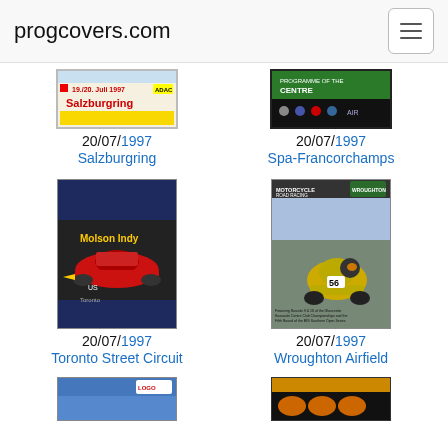progcovers.com
[Figure (photo): Salzburgring 1997 programme cover with ADAC logo and date 19./20. Juli 1997]
20/07/1997
Salzburgring
[Figure (photo): Spa-Francorchamps 1997 programme cover with green top and dark bottom]
20/07/1997
Spa-Francorchamps
[Figure (photo): Toronto Street Circuit 1997 Molson Indy programme cover with red racing car]
20/07/1997
Toronto Street Circuit
[Figure (photo): Wroughton Airfield 1997 Motorcycle Road Racing programme cover with rider number 56]
20/07/1997
Wroughton Airfield
[Figure (photo): Partial programme cover, blue background, bottom of page]
[Figure (photo): Partial programme cover, dark background, bottom of page]